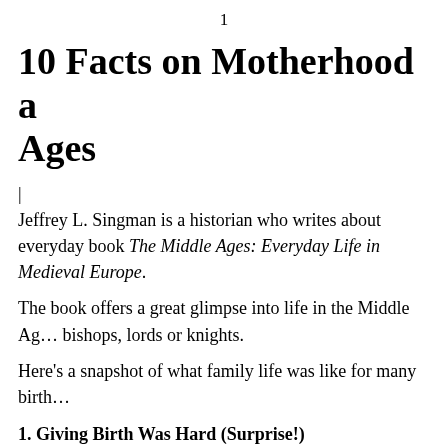1
10 Facts on Motherhood a… Ages
| Jeffrey L. Singman is a historian who writes about everyday book The Middle Ages: Everyday Life in Medieval Europe.
The book offers a great glimpse into life in the Middle Ages bishops, lords or knights.
Here's a snapshot of what family life was like for many birth…
1. Giving Birth Was Hard (Surprise!)
No hospitals. No drugs. Probably no doctor or surgeon (unless under which women gave birth. Women usually gave birth…